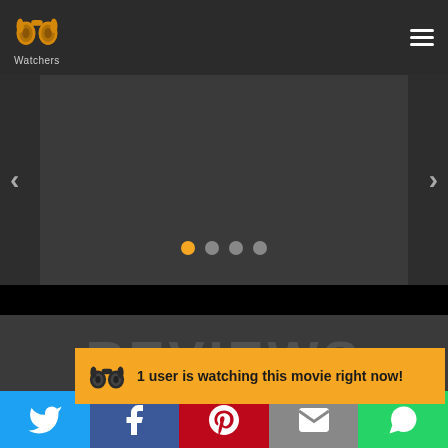[Figure (logo): PP Watchers logo - golden/yellow binoculars icon with text 'Watchers' below]
[Figure (screenshot): Dark slider/carousel area with left and right navigation arrows, four pagination dots (first dot is orange/active, rest are grey), dark side panels]
REVIEWS
1 user is watching this movie right now!
[Figure (infographic): Social sharing buttons bar: Twitter (blue), Facebook (dark blue), Pinterest (red), Email (grey), WhatsApp (green)]